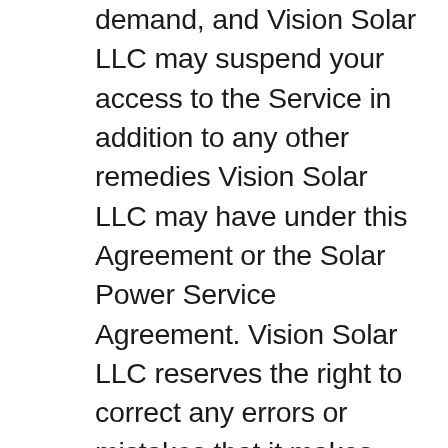demand, and Vision Solar LLC may suspend your access to the Service in addition to any other remedies Vision Solar LLC may have under this Agreement or the Solar Power Service Agreement. Vision Solar LLC reserves the right to correct any errors or mistakes that it makes even if it has already requested or received payment. You are solely responsible for any and all fees charged to your credit card by the issuer, bank, or financial institution including, but not limited to, membership, overdraft, insufficient funds, and over the credit limit fees. You